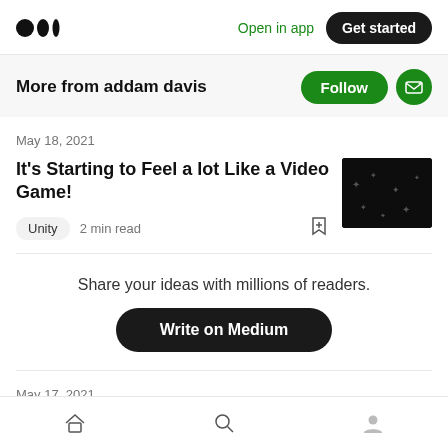Medium logo | Open in app | Get started
More from addam davis
May 18, 2021
It's Starting to Feel a lot Like a Video Game!
Unity  2 min read
Share your ideas with millions of readers.
Write on Medium
May 17, 2021
Home | Search | Profile